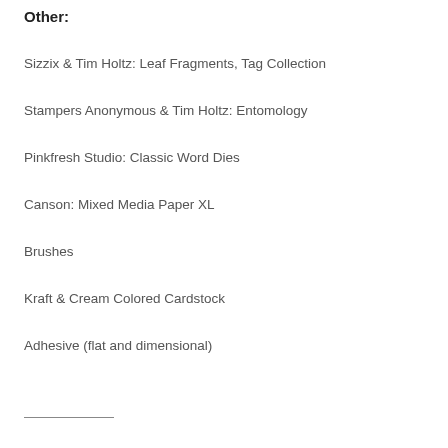Other:
Sizzix & Tim Holtz: Leaf Fragments, Tag Collection
Stampers Anonymous & Tim Holtz: Entomology
Pinkfresh Studio: Classic Word Dies
Canson: Mixed Media Paper XL
Brushes
Kraft & Cream Colored Cardstock
Adhesive (flat and dimensional)